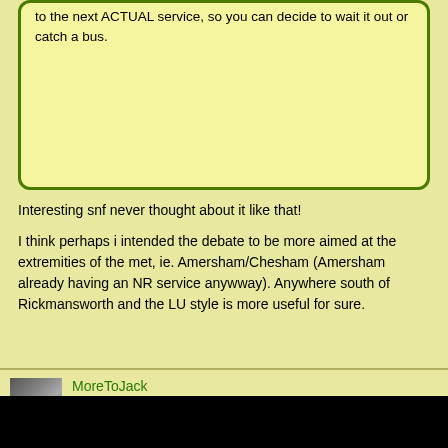to the next ACTUAL service, so you can decide to wait it out or catch a bus.
Interesting snf never thought about it like that!
I think perhaps i intended the debate to be more aimed at the extremities of the met, ie. Amersham/Chesham (Amersham already having an NR service anywway). Anywhere south of Rickmansworth and the LU style is more useful for sure.
MoreToJack
Global Moderator
Mar 21, 2022 at 4:49pm
Traditionally it was never possible to provide 'timetabled' or 'real time' train running info on the Met on platform-based DMIs anyway - the legacy train description (TD) feeds are somewhat 'dumb' and work by trains dropping track circuits (or signals clearing) to pass the code to the next area of control. This has been described in the past on this forum so I won't go into